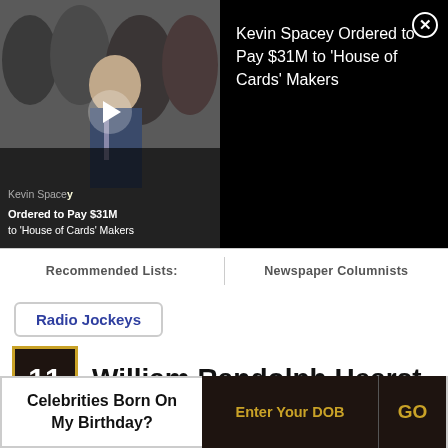[Figure (screenshot): Video thumbnail overlay showing Kevin Spacey news story with text 'Kevin Spacey Ordered to Pay $31M to House of Cards Makers' on black background with close button]
Recommended Lists:   Newspaper Columnists
Radio Jockeys
11   William Randolph Hearst
(Newspaper Baron)
[Figure (photo): Black and white portrait photo of William Randolph Hearst]
Celebrities Born On My Birthday?   Enter Your DOB   GO